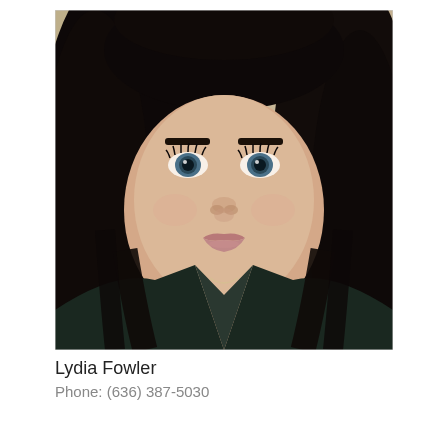[Figure (photo): Headshot photo of a young woman with long dark hair, blue/green eyes, wearing a dark jacket. She is smiling slightly against a beige/tan wall background.]
Lydia Fowler
Phone: (636) 387-5030